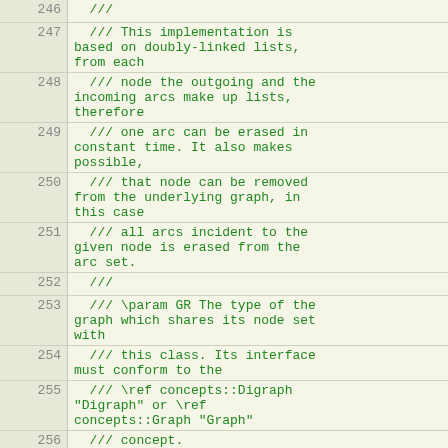Source code listing, lines 246-262, C++ comment block for ListArcSet class
| line | code |
| --- | --- |
| 246 |   /// |
| 247 |   /// This implementation is based on doubly-linked lists, from each |
| 248 |   /// node the outgoing and the incoming arcs make up lists, therefore |
| 249 |   /// one arc can be erased in constant time. It also makes possible, |
| 250 |   /// that node can be removed from the underlying graph, in this case |
| 251 |   /// all arcs incident to the given node is erased from the arc set. |
| 252 |   /// |
| 253 |   /// \param GR The type of the graph which shares its node set with |
| 254 |   /// this class. Its interface must conform to the |
| 255 |   /// \ref concepts::Digraph "Digraph" or \ref concepts::Graph "Graph" |
| 256 |   /// concept. |
| 257 |   /// |
| 258 |   /// This class fully conforms to the \ref concepts::Digraph |
| 259 |   /// "Digraph" concept. |
| 260 |   template <typename GR> |
| 261 |   class ListArcSet : public ArcSetExtender<ListArcSetBase<GR>> { |
| 262 |  |